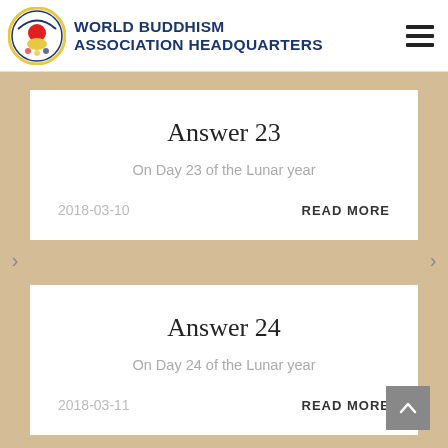WORLD BUDDHISM ASSOCIATION HEADQUARTERS
Answer 23
On Day 23 of the Lunar year
2018-03-10   READ MORE
Answer 24
On Day 24 of the Lunar year
2018-03-11   READ MORE